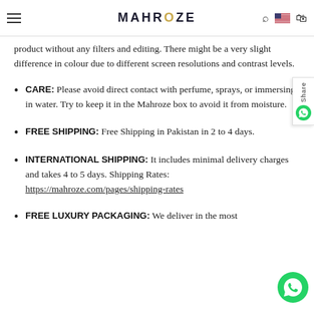MAHROZE
product without any filters and editing. There might be a very slight difference in colour due to different screen resolutions and contrast levels.
CARE: Please avoid direct contact with perfume, sprays, or immersing in water. Try to keep it in the Mahroze box to avoid it from moisture.
FREE SHIPPING: Free Shipping in Pakistan in 2 to 4 days.
INTERNATIONAL SHIPPING: It includes minimal delivery charges and takes 4 to 5 days. Shipping Rates: https://mahroze.com/pages/shipping-rates
FREE LUXURY PACKAGING: We deliver in the most